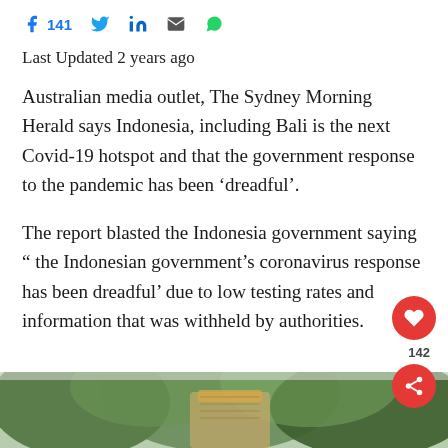f 141  [Twitter]  in  [Email]  [WhatsApp]
Last Updated 2 years ago
Australian media outlet, The Sydney Morning Herald says Indonesia, including Bali is the next Covid-19 hotspot and that the government response to the pandemic has been ‘dreadful’.
The report blasted the Indonesia government saying “ the Indonesian government’s coronavirus response has been dreadful’ due to low testing rates and information that was withheld by authorities.
[Figure (photo): Photo of a person holding a decorated basket/tray with greenery in the background]